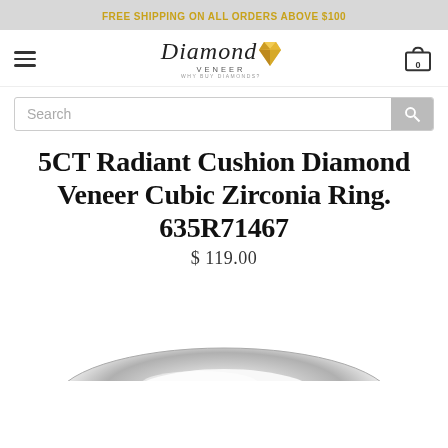FREE SHIPPING ON ALL ORDERS ABOVE $100
[Figure (logo): Diamond Veneer logo with stylized italic text and gem illustration]
Search
5CT Radiant Cushion Diamond Veneer Cubic Zirconia Ring. 635R71467
$ 119.00
[Figure (photo): Close-up photo of a silver/platinum cushion ring on white background, partially visible from bottom]